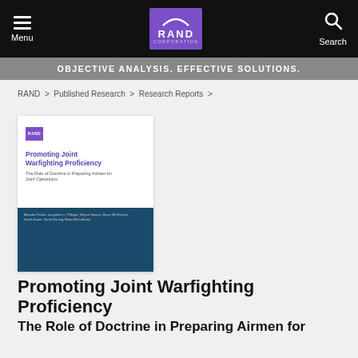Menu | RAND CORPORATION | Search
OBJECTIVE ANALYSIS. EFFECTIVE SOLUTIONS.
RAND > Published Research > Research Reports >
[Figure (illustration): Book cover thumbnail for 'Promoting Joint Warfighting Proficiency: The Role of Doctrine in Preparing Airmen for Joint Operations' published by RAND Corporation]
Promoting Joint Warfighting Proficiency
The Role of Doctrine in Preparing Airmen for